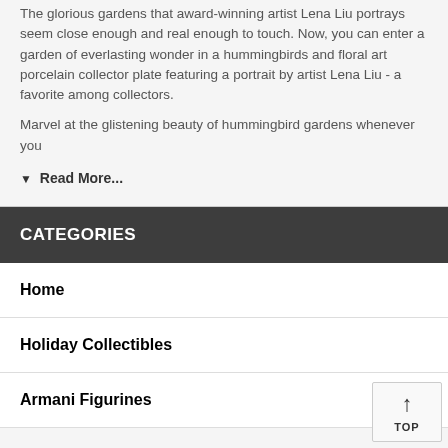The glorious gardens that award-winning artist Lena Liu portrays seem close enough and real enough to touch. Now, you can enter a garden of everlasting wonder in a hummingbirds and floral art porcelain collector plate featuring a portrait by artist Lena Liu - a favorite among collectors.
Marvel at the glistening beauty of hummingbird gardens whenever you
▼ Read More...
CATEGORIES
Home
Holiday Collectibles
Armani Figurines